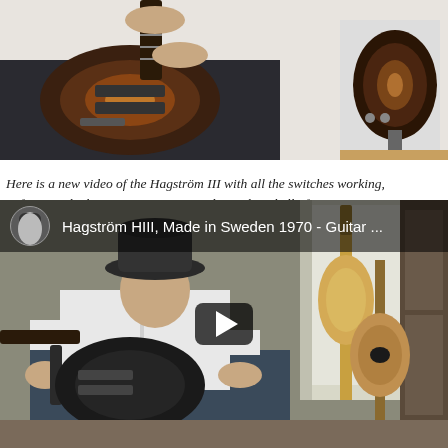[Figure (photo): Close-up photo of a person playing a sunburst electric guitar (Hagström III), with another guitar visible on a stand in the background against a white wall.]
Here is a new video of the Hagström III with all the switches working, unfortunately the amp is acting up and is making hell of a noise
[Figure (screenshot): YouTube video embed showing a person in a cowboy hat playing a black electric guitar (Hagström HIII) in a room with multiple guitars visible. Video title reads: 'Hagström HIII, Made in Sweden 1970 - Guitar ...' with a play button overlay and a circular avatar of the uploader.]